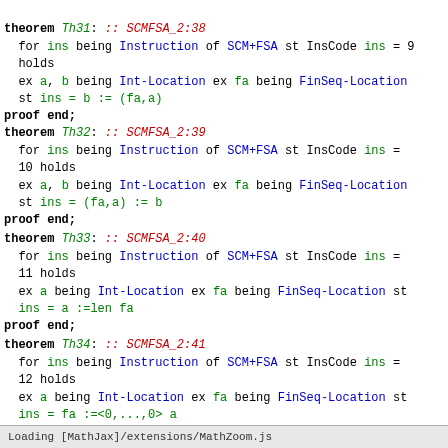theorem Th31: :: SCMFSA_2:38
  for ins being Instruction of SCM+FSA st InsCode ins = 9
  holds
  ex a, b being Int-Location ex fa being FinSeq-Location
  st ins = b := (fa,a)
proof end;
theorem Th32: :: SCMFSA_2:39
  for ins being Instruction of SCM+FSA st InsCode ins =
  10 holds
  ex a, b being Int-Location ex fa being FinSeq-Location
  st ins = (fa,a) := b
proof end;
theorem Th33: :: SCMFSA_2:40
  for ins being Instruction of SCM+FSA st InsCode ins =
  11 holds
  ex a being Int-Location ex fa being FinSeq-Location st
  ins = a :=len fa
proof end;
theorem Th34: :: SCMFSA_2:41
  for ins being Instruction of SCM+FSA st InsCode ins =
  12 holds
  ex a being Int-Location ex fa being FinSeq-Location st
  ins = fa :=<0,...,0> a
proof end;
Loading [MathJax]/extensions/MathZoom.js